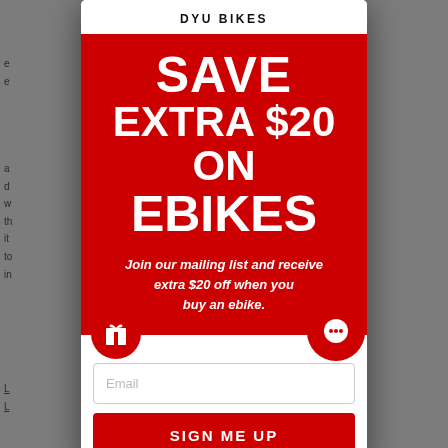[Figure (screenshot): DYU Bikes promotional modal popup showing a save extra $20 on ebikes offer, with email signup form and sign me up button on a red background]
DYU BIKES
SAVE EXTRA $20 ON EBIKES
Join our mailing list and receive extra $20 off when you buy an ebike.
Email
SIGN ME UP